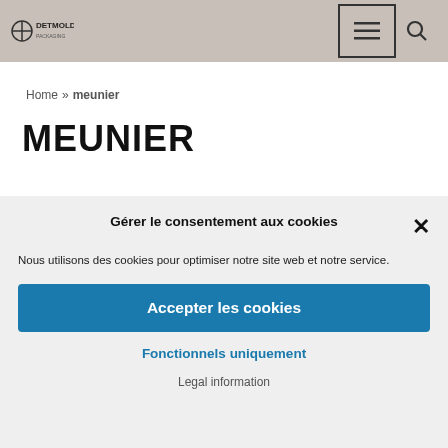DETMOLD [logo] ☰ 🔍
Home » meunier
MEUNIER
Gérer le consentement aux cookies
Nous utilisons des cookies pour optimiser notre site web et notre service.
Accepter les cookies
Fonctionnels uniquement
Legal information